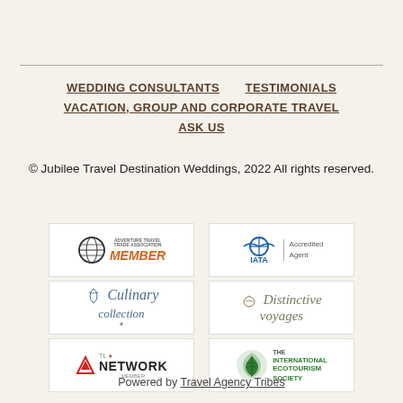WEDDING CONSULTANTS
TESTIMONIALS
VACATION, GROUP AND CORPORATE TRAVEL
ASK US
© Jubilee Travel Destination Weddings, 2022 All rights reserved.
[Figure (logo): Adventure Travel Trade Association Member logo]
[Figure (logo): IATA Accredited Agent logo]
[Figure (logo): Culinary Collection logo]
[Figure (logo): Distinctive Voyages logo]
[Figure (logo): TL Network Member logo]
[Figure (logo): The International Ecotourism Society logo]
Powered by Travel Agency Tribes